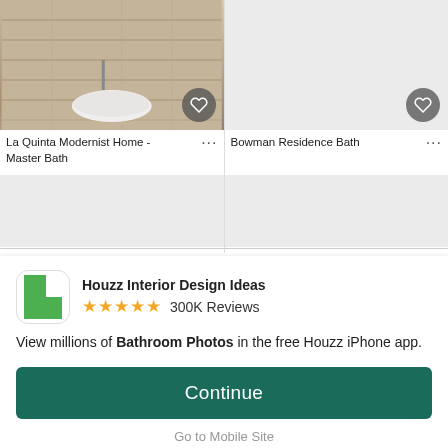[Figure (photo): La Quinta Modernist Home - Master Bath photo showing a freestanding white oval bathtub in a modern stone-clad bathroom with a heart/favorite button overlay]
La Quinta Modernist Home - Master Bath ...
[Figure (photo): Bowman Residence Bath - placeholder gray image with heart/favorite button]
Bowman Residence Bath ...
[Figure (photo): Third card placeholder gray image]
[Figure (photo): Fourth card placeholder gray image]
[Figure (screenshot): Houzz Interior Design Ideas app promotion banner with app icon, 5-star rating, 300K Reviews, and Continue button]
Houzz Interior Design Ideas ★★★★★ 300K Reviews
View millions of Bathroom Photos in the free Houzz iPhone app.
Continue
Go to Mobile Site